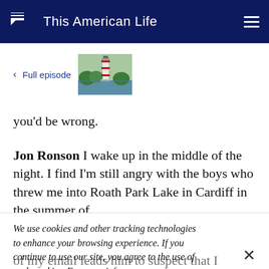This American Life
< Full episode [thumbnail image of lighthouse/lake]
you'd be wrong.
Jon Ronson  I wake up in the middle of the night. I find I'm still angry with the boys who threw me into Roath Park Lake in Cardiff in the summer of
We use cookies and other tracking technologies to enhance your browsing experience. If you continue to use our site, you agree to the use of such cookies. For more info, see our privacy policy.
of my email leads him to suspect that I haven't